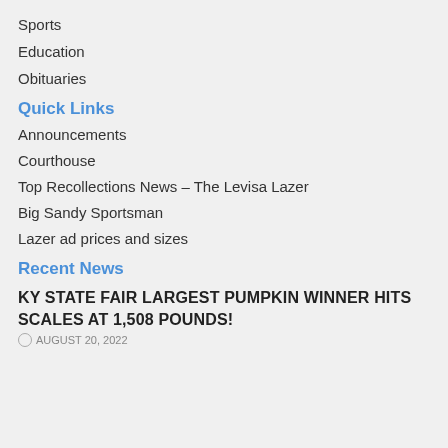Sports
Education
Obituaries
Quick Links
Announcements
Courthouse
Top Recollections News – The Levisa Lazer
Big Sandy Sportsman
Lazer ad prices and sizes
Recent News
KY STATE FAIR LARGEST PUMPKIN WINNER HITS SCALES AT 1,508 POUNDS!
AUGUST 20, 2022